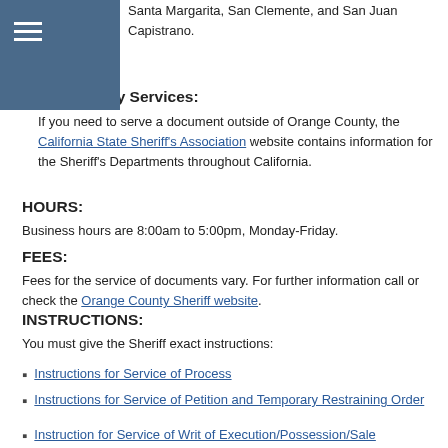Santa Margarita, San Clemente, and San Juan Capistrano.
Out of County Services:
If you need to serve a document outside of Orange County, the California State Sheriff's Association website contains information for the Sheriff's Departments throughout California.
HOURS:
Business hours are 8:00am to 5:00pm, Monday-Friday.
FEES:
Fees for the service of documents vary. For further information call or check the Orange County Sheriff website.
INSTRUCTIONS:
You must give the Sheriff exact instructions:
Instructions for Service of Process
Instructions for Service of Petition and Temporary Restraining Order
Instruction for Service of Writ of Execution/Possession/Sale
Check the Orange County Sheriff website for more information on serving documents, evictions, seizing and selling property and assets.